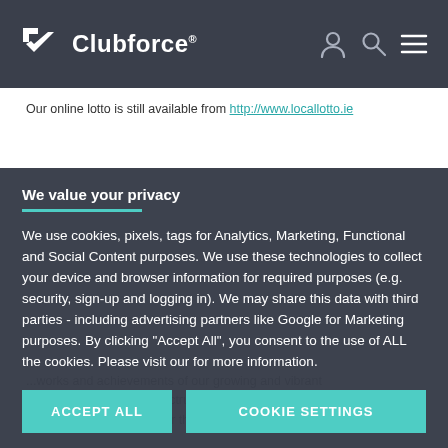Clubforce®
Our online lotto is still available from http://www.locallotto.ie
We value your privacy
We use cookies, pixels, tags for Analytics, Marketing, Functional and Social Content purposes. We use these technologies to collect your device and browser information for required purposes (e.g. security, sign-up and logging in). We may share this data with third parties - including advertising partners like Google for Marketing purposes. By clicking "Accept All", you consent to the use of ALL the cookies. Please visit our for more information.
ACCEPT ALL
COOKIE SETTINGS
...works and achievements of our growing and vibrant ...a centre for a broad spectrum of community activities, clubs, youth facilities, services for the elderly, childcare, events and...